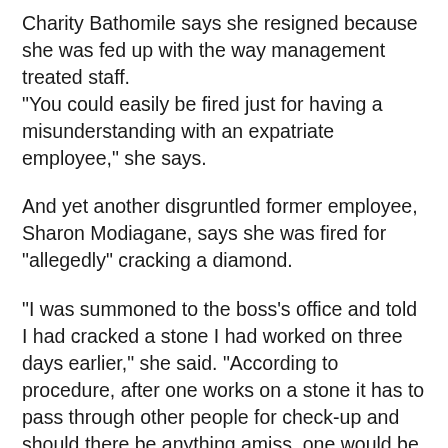Charity Bathomile says she resigned because she was fed up with the way management treated staff. “You could easily be fired just for having a misunderstanding with an expatriate employee,” she says.
And yet another disgruntled former employee, Sharon Modiagane, says she was fired for “allegedly” cracking a diamond.
“I was summoned to the boss’s office and told I had cracked a stone I had worked on three days earlier,” she said. “According to procedure, after one works on a stone it has to pass through other people for check-up and should there be anything amiss, one would be notified immediately.”
She also claims she was dismissed without so much as a